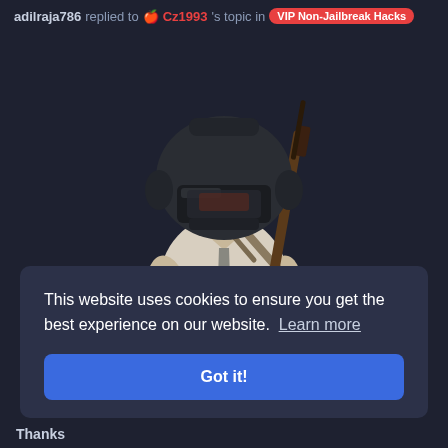adilraja786 replied to 🍎 Cz1993's topic in VIP Non-Jailbreak Hacks
[Figure (illustration): PUBG game character wearing a helmet and white shirt with a rifle on their back, rendered in 3D style against a dark background.]
This website uses cookies to ensure you get the best experience on our website.  Learn more
Got it!
Thanks